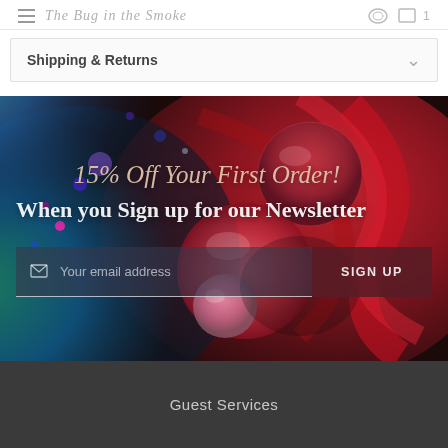The Bug in the Smoke
Shipping & Returns
[Figure (photo): Abstract colorful swirling liquid art with bubbles in red, blue, green, and pink tones used as promotional banner background]
15% Off Your First Order!
When you Sign up for our Newsletter
Your email address
SIGN UP
Guest Services